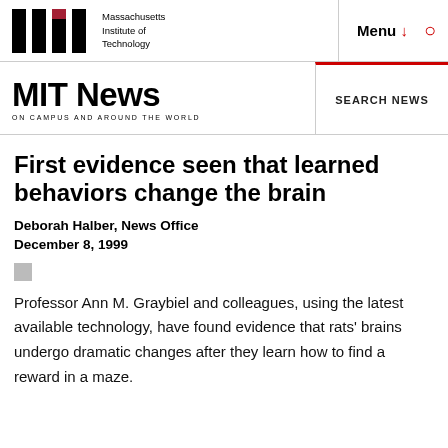Massachusetts Institute of Technology | Menu | Search
MIT News ON CAMPUS AND AROUND THE WORLD
SEARCH NEWS
First evidence seen that learned behaviors change the brain
Deborah Halber, News Office
December 8, 1999
Professor Ann M. Graybiel and colleagues, using the latest available technology, have found evidence that rats' brains undergo dramatic changes after they learn how to find a reward in a maze.